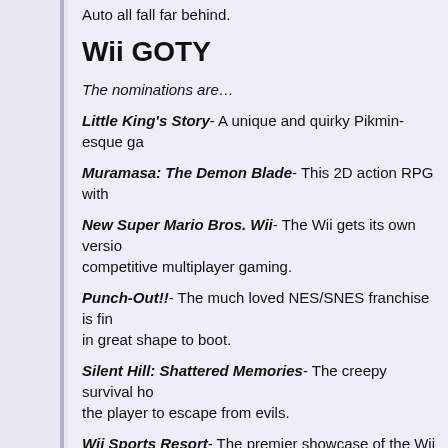Auto all fall far behind.
Wii GOTY
The nominations are…
Little King's Story- A unique and quirky Pikmin-esque ga
Muramasa: The Demon Blade- This 2D action RPG with
New Super Mario Bros. Wii- The Wii gets its own version competitive multiplayer gaming.
Punch-Out!!- The much loved NES/SNES franchise is fin in great shape to boot.
Silent Hill: Shattered Memories- The creepy survival ho the player to escape from evils.
Wii Sports Resort- The premier showcase of the Wii Mot original Wii Sports tenfold.